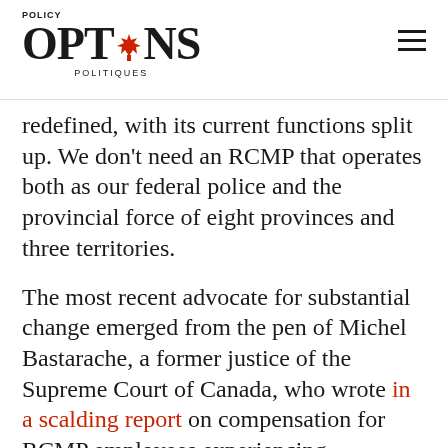POLICY OPTIONS POLITIQUES
redefined, with its current functions split up. We don't need an RCMP that operates both as our federal police and the provincial force of eight provinces and three territories.
The most recent advocate for substantial change emerged from the pen of Michel Bastarache, a former justice of the Supreme Court of Canada, who wrote in a scalding report on compensation for RCMP employees experiencing harassment that the culture of the RCMP was toxic. It is, he argued, time that the government asks